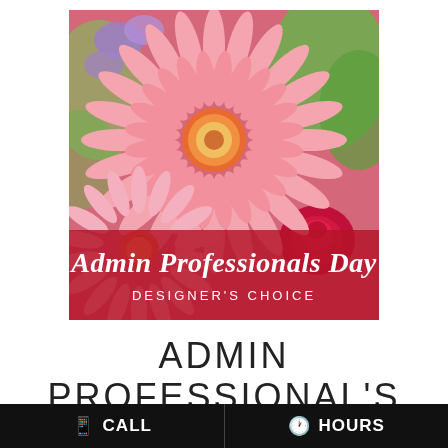[Figure (photo): Close-up photo of pink gerbera daisy flowers with red roses and green foliage. A red semi-transparent banner overlays the bottom of the image with the text 'Admin Professionals Day' in white cursive script and 'DESIGNER'S CHOICE' in white sans-serif letters below it.]
ADMIN PROFESSIONAL'S
CALL   HOURS